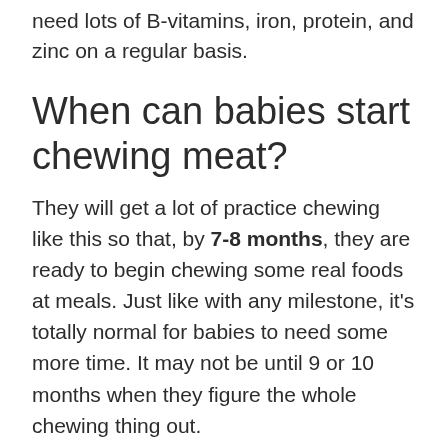need lots of B-vitamins, iron, protein, and zinc on a regular basis.
When can babies start chewing meat?
They will get a lot of practice chewing like this so that, by 7-8 months, they are ready to begin chewing some real foods at meals. Just like with any milestone, it's totally normal for babies to need some more time. It may not be until 9 or 10 months when they figure the whole chewing thing out.
Can babies under 1 eat meat?